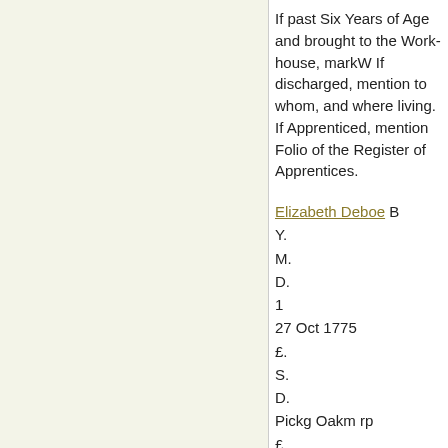If past Six Years of Age and brought to the Work-house, markW If discharged, mention to whom, and where living. If Apprenticed, mention Folio of the Register of Apprentices.
Elizabeth Deboe B Y. M. D. 1 27 Oct 1775 £. S. D. Pickg Oakm rp £. S. D. W